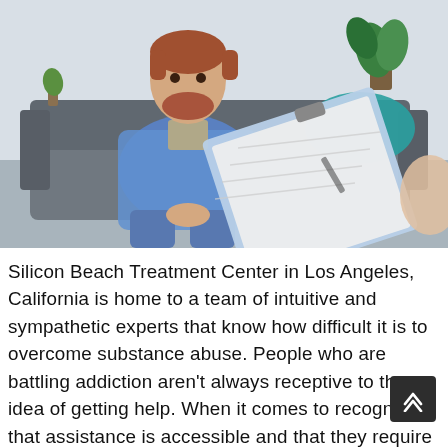[Figure (photo): A man with a beard, wearing a denim shirt, sitting on a grey couch in a therapy/counseling setting. A clinician's hand holds a clipboard with paperwork toward the man. A teal pillow and a plant are visible in the background.]
Silicon Beach Treatment Center in Los Angeles, California is home to a team of intuitive and sympathetic experts that know how difficult it is to overcome substance abuse. People who are battling addiction aren't always receptive to the idea of getting help. When it comes to recognizing that assistance is accessible and that they require treatment for their